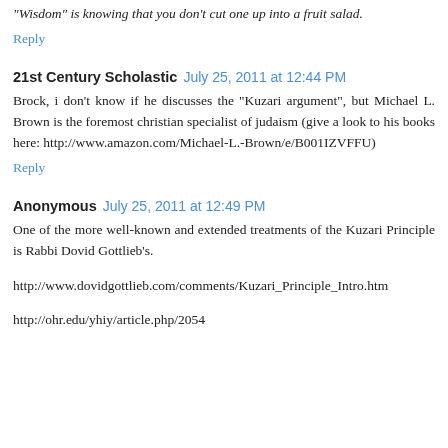"Wisdom" is knowing that you don't cut one up into a fruit salad.
Reply
21st Century Scholastic  July 25, 2011 at 12:44 PM
Brock, i don't know if he discusses the "Kuzari argument", but Michael L. Brown is the foremost christian specialist of judaism (give a look to his books here: http://www.amazon.com/Michael-L.-Brown/e/B001IZVFFU)
Reply
Anonymous  July 25, 2011 at 12:49 PM
One of the more well-known and extended treatments of the Kuzari Principle is Rabbi Dovid Gottlieb's.
http://www.dovidgottlieb.com/comments/Kuzari_Principle_Intro.htm
http://ohr.edu/yhiy/article.php/2054